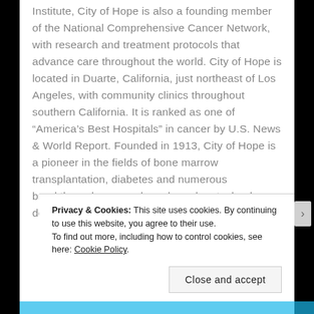Institute, City of Hope is also a founding member of the National Comprehensive Cancer Network, with research and treatment protocols that advance care throughout the world. City of Hope is located in Duarte, California, just northeast of Los Angeles, with community clinics throughout southern California. It is ranked as one of “America’s Best Hospitals” in cancer by U.S. News & World Report. Founded in 1913, City of Hope is a pioneer in the fields of bone marrow transplantation, diabetes and numerous breakthrough cancer drugs based on technology developed at the institution. For more
Privacy & Cookies: This site uses cookies. By continuing to use this website, you agree to their use.
To find out more, including how to control cookies, see here: Cookie Policy